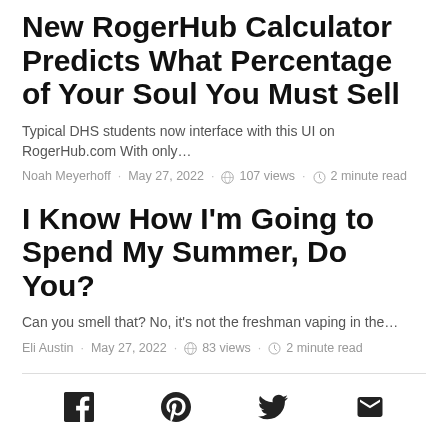New RogerHub Calculator Predicts What Percentage of Your Soul You Must Sell
Typical DHS students now interface with this UI on RogerHub.com With only…
Noah Meyerhoff · May 27, 2022 · 107 views · 2 minute read
I Know How I'm Going to Spend My Summer, Do You?
Can you smell that? No, it's not the freshman vaping in the…
Eli Austin · May 27, 2022 · 83 views · 2 minute read